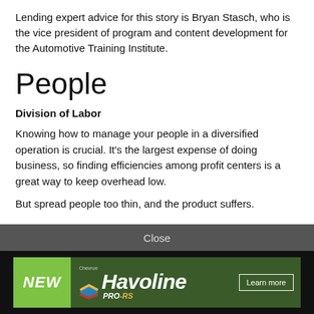Lending expert advice for this story is Bryan Stasch, who is the vice president of program and content development for the Automotive Training Institute.
People
Division of Labor
Knowing how to manage your people in a diversified operation is crucial. It's the largest expense of doing business, so finding efficiencies among profit centers is a great way to keep overhead low.
But spread people too thin, and the product suffers.
Close
[Figure (other): Chevron Havoline PRO-RS advertisement banner with green 'NEW' label on left, Havoline logo with Chevron branding, and 'Learn more' button on right, set against a forest background]